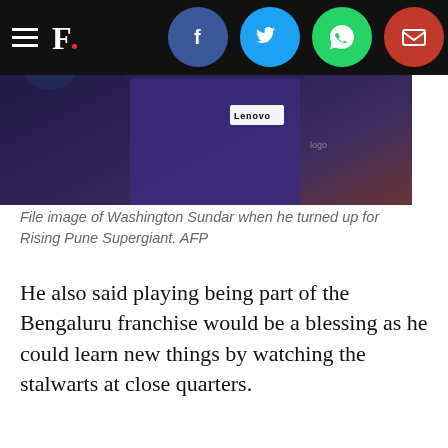F.
[Figure (photo): Close-up of a cricket player's shorts/jersey area with a Lenovo sponsor patch, purple and dark uniform, blurred background — file image of Washington Sundar playing for Rising Pune Supergiant.]
File image of Washington Sundar when he turned up for Rising Pune Supergiant. AFP
He also said playing being part of the Bengaluru franchise would be a blessing as he could learn new things by watching the stalwarts at close quarters.